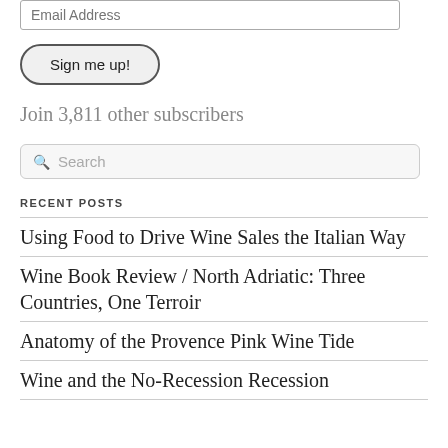Email Address
Sign me up!
Join 3,811 other subscribers
Search
RECENT POSTS
Using Food to Drive Wine Sales the Italian Way
Wine Book Review / North Adriatic: Three Countries, One Terroir
Anatomy of the Provence Pink Wine Tide
Wine and the No-Recession Recession